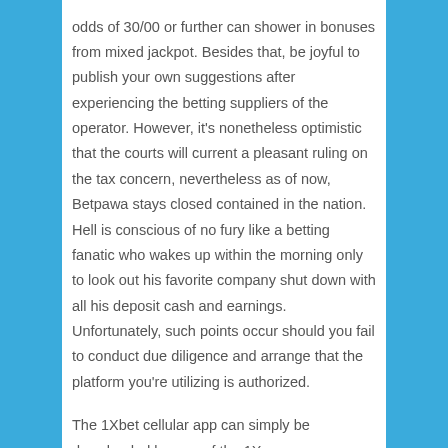odds of 30/00 or further can shower in bonuses from mixed jackpot. Besides that, be joyful to publish your own suggestions after experiencing the betting suppliers of the operator. However, it's nonetheless optimistic that the courts will current a pleasant ruling on the tax concern, nevertheless as of now, Betpawa stays closed contained in the nation. Hell is conscious of no fury like a betting fanatic who wakes up within the morning only to look out his favorite company shut down with all his deposit cash and earnings. Unfortunately, such points occur should you fail to conduct due diligence and arrange that the platform you're utilizing is authorized.
The 1Xbet cellular app can simply be downloaded by way of the 1X guess app